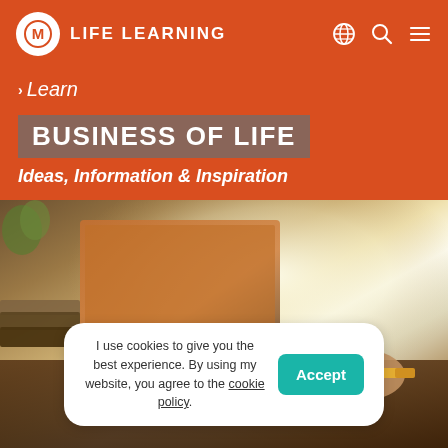LIFE LEARNING
Learn
BUSINESS OF LIFE
Ideas, Information & Inspiration
[Figure (photo): Person holding a pencil at a desk with a laptop, blurred background with window light]
I use cookies to give you the best experience. By using my website, you agree to the cookie policy.